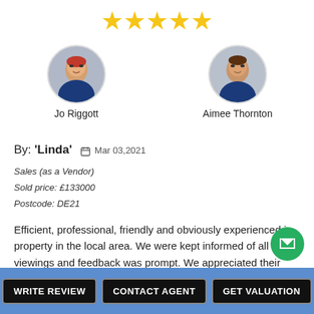[Figure (other): Five gold star rating]
[Figure (photo): Circular avatar photo of Jo Riggott, estate agent]
Jo Riggott
[Figure (photo): Circular avatar photo of Aimee Thornton, estate agent]
Aimee Thornton
By: 'Linda'  Mar 03,2021
Sales (as a Vendor)
Sold price: £133000
Postcode: DE21
Efficient, professional, friendly and obviously experienced in property in the local area. We were kept informed of all viewings and feedback was prompt. We appreciated their advice and a quick sale resulted....
read full review
Comments (0)
Report abuse
Print review
WRITE REVIEW
CONTACT AGENT
GET VALUATION